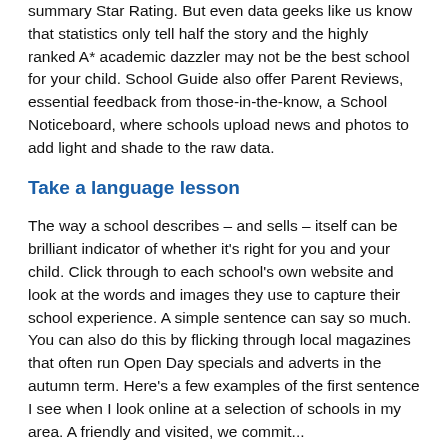summary Star Rating. But even data geeks like us know that statistics only tell half the story and the highly ranked A* academic dazzler may not be the best school for your child. School Guide also offer Parent Reviews, essential feedback from those-in-the-know, a School Noticeboard, where schools upload news and photos to add light and shade to the raw data.
Take a language lesson
The way a school describes – and sells – itself can be brilliant indicator of whether it's right for you and your child. Click through to each school's own website and look at the words and images they use to capture their school experience. A simple sentence can say so much. You can also do this by flicking through local magazines that often run Open Day specials and adverts in the autumn term. Here's a few examples of the first sentence I see when I look online at a selection of schools in my area. A friendly and visited, we commit...